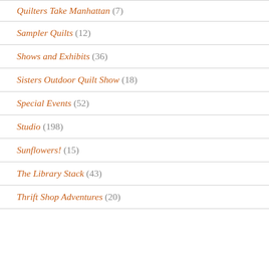Quilters Take Manhattan (7)
Sampler Quilts (12)
Shows and Exhibits (36)
Sisters Outdoor Quilt Show (18)
Special Events (52)
Studio (198)
Sunflowers! (15)
The Library Stack (43)
Thrift Shop Adventures (20)